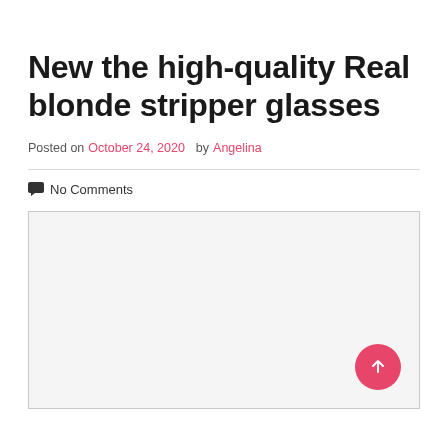New the high-quality Real blonde stripper glasses
Posted on October 24, 2020 by Angelina
No Comments
[Figure (photo): Large image placeholder box with light gray background and a pink circular scroll-to-top button in the bottom right corner]